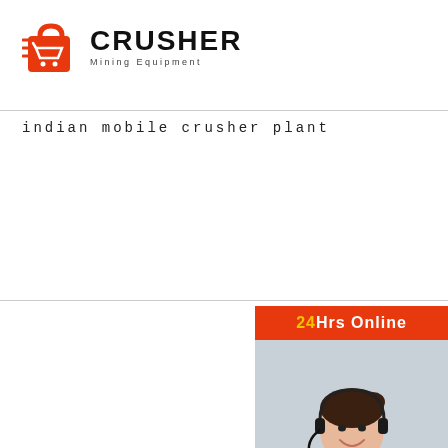[Figure (logo): CRUSHER Mining Equipment logo with red shopping bag icon with speed lines and bold black CRUSHER text with Mining Equipment tagline below]
indian mobile crusher plant
[Figure (infographic): Customer service sidebar widget with '24Hrs Online' header, photo of smiling woman with headset, chat bubble icon with ellipsis, 'Chat Now' red button, 'Enquiry' section, and 'limingjlmofen@sina.com' email address]